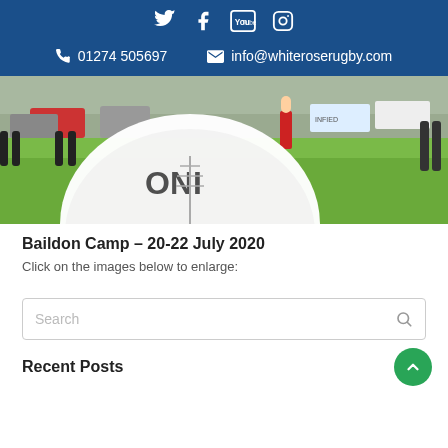Social icons: Twitter, Facebook, YouTube, Instagram | 01274 505697 | info@whiteroserugby.com
[Figure (photo): A rugby ball in the foreground on green grass, with people, cars and advertising boards visible in the background]
Baildon Camp – 20-22 July 2020
Click on the images below to enlarge:
Search
Recent Posts